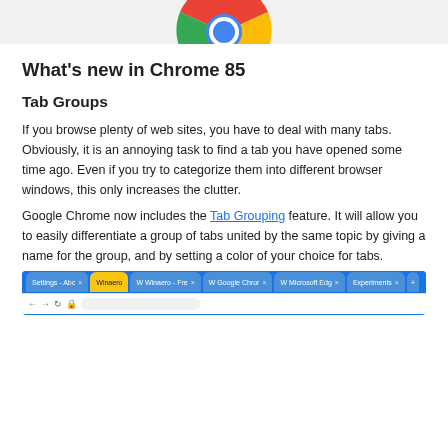[Figure (logo): Google Chrome logo — partial view of the colorful circular logo (green, yellow, red segments with blue center) on a light gray background]
What's new in Chrome 85
Tab Groups
If you browse plenty of web sites, you have to deal with many tabs. Obviously, it is an annoying task to find a tab you have opened some time ago. Even if you try to categorize them into different browser windows, this only increases the clutter.
Google Chrome now includes the Tab Grouping feature. It will allow you to easily differentiate a group of tabs united by the same topic by giving a name for the group, and by setting a color of your choice for tabs.
[Figure (screenshot): Screenshot of Google Chrome browser tab bar showing multiple tabs: Settings - Abc (inactive), Winaero (active, yellow), Winaero - Fre (inactive), Google Chrome (inactive), Microsoft Edge (inactive), Experiments (inactive), and a plus button. Below is the navigation bar with back/forward/reload buttons and an address bar stub.]